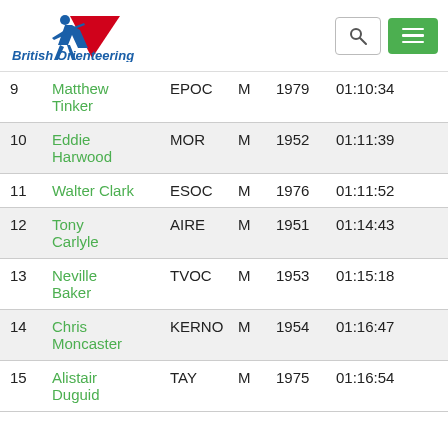[Figure (logo): British Orienteering logo with runner silhouette and text 'British Orienteering']
| # | Name | Club | Gender | Year | Time |
| --- | --- | --- | --- | --- | --- |
| 9 | Matthew Tinker | EPOC | M | 1979 | 01:10:34 |
| 10 | Eddie Harwood | MOR | M | 1952 | 01:11:39 |
| 11 | Walter Clark | ESOC | M | 1976 | 01:11:52 |
| 12 | Tony Carlyle | AIRE | M | 1951 | 01:14:43 |
| 13 | Neville Baker | TVOC | M | 1953 | 01:15:18 |
| 14 | Chris Moncaster | KERNO | M | 1954 | 01:16:47 |
| 15 | Alistair Duguid | TAY | M | 1975 | 01:16:54 |